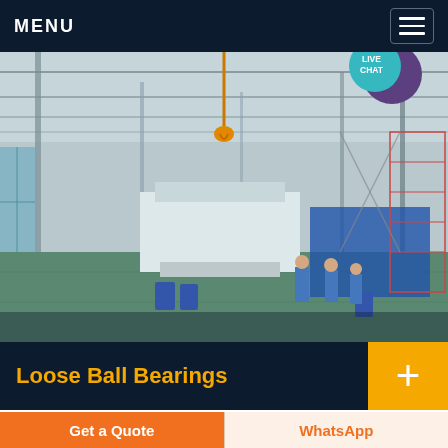MENU
[Figure (photo): Large industrial factory interior showing heavy machinery, overhead crane hook, steel framework, workers in blue uniforms, and large industrial equipment on a green floor. LIVE CHAT bubble visible in top-right corner.]
Loose Ball Bearings
Stainless Steel Ball Bearings If you need
Get a Quote
WhatsApp